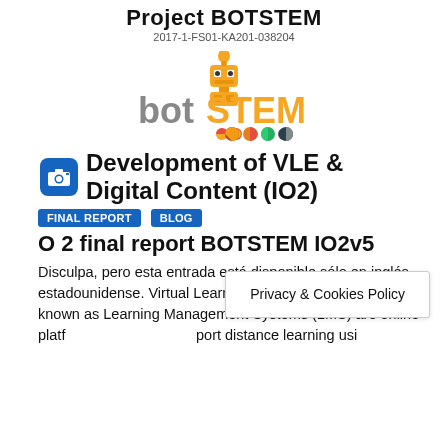Project BOTSTEM
2017-1-FS01-KA201-038204
[Figure (logo): botSTEM project logo with orange robot and colorful dots]
Development of VLE & Digital Content (IO2)
FINAL REPORT
BLOG
O 2 final report BOTSTEM IO2v5
Disculpa, pero esta entrada está disponible sólo en inglés estadounidense. Virtual Learning Environments (VLE), also known as Learning Management Systems (LMS) are online platforms designed to support distance learning usi
Privacy & Cookies Policy